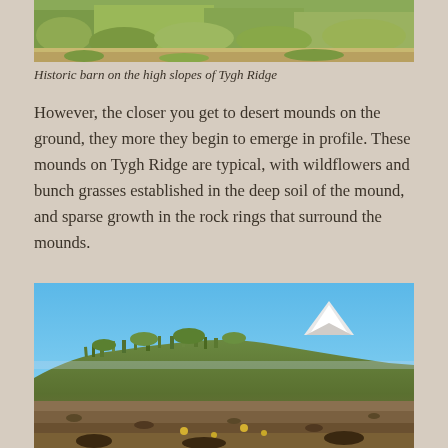[Figure (photo): Partial view of a historic barn on the high slopes of Tygh Ridge, showing green vegetation and sagebrush landscape.]
Historic barn on the high slopes of Tygh Ridge
However, the closer you get to desert mounds on the ground, they more they begin to emerge in profile. These mounds on Tygh Ridge are typical, with wildflowers and bunch grasses established in the deep soil of the mound, and sparse growth in the rock rings that surround the mounds.
[Figure (photo): Close-up view of desert mounds on Tygh Ridge showing grasses on top of a mound, sparse rocky ground in the foreground, and a snow-capped mountain visible in the background under blue sky.]